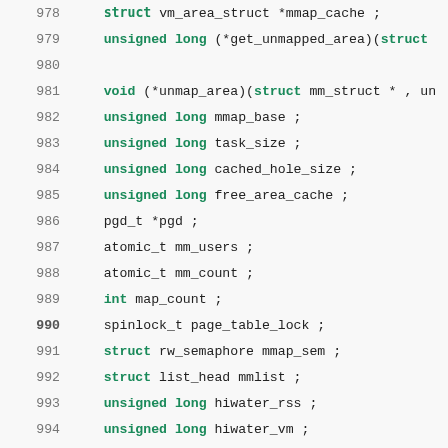[Figure (screenshot): Source code listing showing C struct field declarations, lines 978-1007, with line numbers on the left and syntax-highlighted keywords in green/bold. Fields include mmap_cache, get_unmapped_area, unmap_area, mmap_base, task_size, cached_hole_size, free_area_cache, pgd, mm_users, mm_count, map_count, page_table_lock, rw_semaphore mmap_sem, list_head mmlist, hiwater_rss, hiwater_vm, total_vm, locked_vm, pinned_vm, shared_vm, exec_vm, stack_vm, reserved_vm, def_flags, nr_ptes, start_code, end_code, start_data, end_data.]